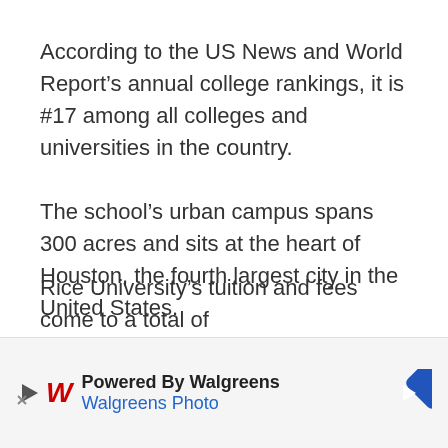According to the US News and World Report’s annual college rankings, it is #17 among all colleges and universities in the country.
The school’s urban campus spans 300 acres and sits at the heart of Houston, the fourth largest city in the United States.
The Rice campus is nestled right between the esteemed Texas Medical Center and the Museum District of Houston.
Rice University’s tuition and fees come to a total of $52,8... spot d... (partially obscured by advertisement)
[Figure (other): Advertisement banner: Powered By Walgreens - Walgreens Photo, with Walgreens logo and navigation arrow icon]